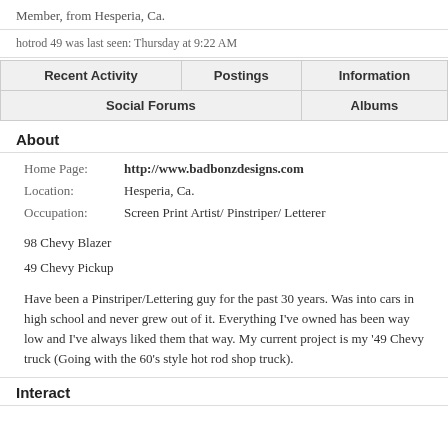Member, from Hesperia, Ca.
hotrod 49 was last seen: Thursday at 9:22 AM
| Recent Activity | Postings | Information |
| Social Forums | Albums |
About
Home Page: http://www.badbonzdesigns.com
Location: Hesperia, Ca.
Occupation: Screen Print Artist/ Pinstriper/ Letterer
98 Chevy Blazer
49 Chevy Pickup
Have been a Pinstriper/Lettering guy for the past 30 years. Was into cars in high school and never grew out of it. Everything I've owned has been way low and I've always liked them that way. My current project is my '49 Chevy truck (Going with the 60's style hot rod shop truck).
Interact